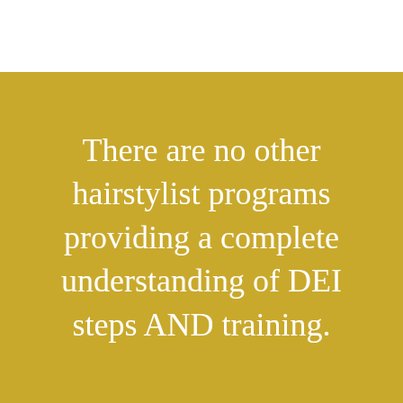There are no other hairstylist programs providing a complete understanding of DEI steps AND training.